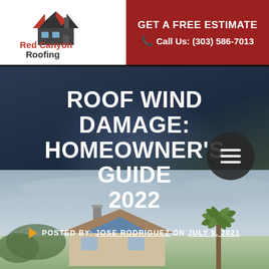[Figure (logo): Red Canyon Roofing logo with house icon and red/black text]
GET A FREE ESTIMATE
Call Us: (303) 586-7013
ROOF WIND DAMAGE: HOMEOWNER'S GUIDE 2022
POSTED BY: JOSE RODRIGUEZ ON JULY 9, 2021
[Figure (photo): House with roof and palm trees under stormy sky, illustrating wind damage]